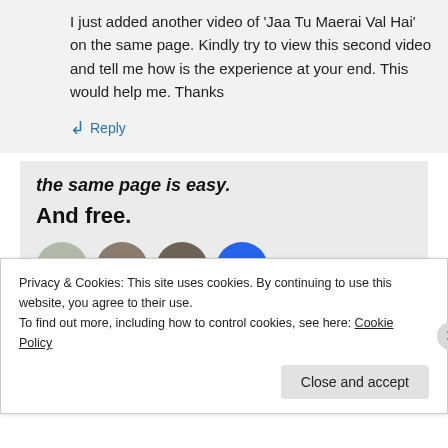I just added another video of ‘Jaa Tu Maerai Val Hai’ on the same page. Kindly try to view this second video and tell me how is the experience at your end. This would help me. Thanks
↳ Reply
[Figure (screenshot): Partial advertisement banner showing bold italic text 'the same page is easy.' and bold text 'And free.' on a light gray background, with a row of circular avatar images below.]
Privacy & Cookies: This site uses cookies. By continuing to use this website, you agree to their use.
To find out more, including how to control cookies, see here: Cookie Policy
Close and accept